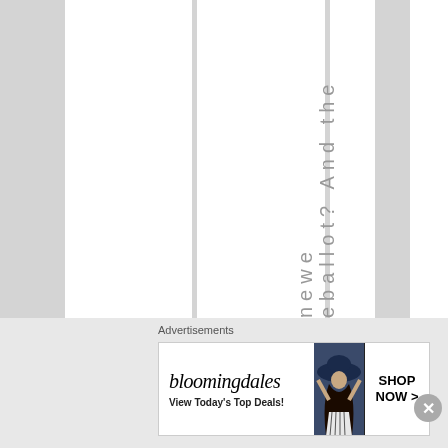eballot? And the new
Advertisements
[Figure (illustration): Bloomingdale's advertisement banner showing logo, 'View Today's Top Deals!' tagline, a woman in a wide-brim hat, and a 'SHOP NOW >' button]